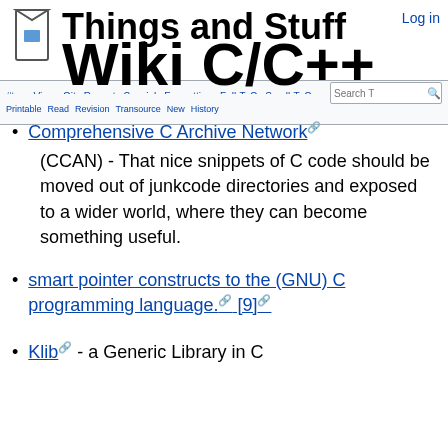Things and Stuff Wiki C/C++ Log in
Comprehensive C Archive Network (CCAN) - That nice snippets of C code should be moved out of junkcode directories and exposed to a wider world, where they can become something useful.
smart pointer constructs to the (GNU) C programming language. [9]
Klib - a Generic Library in C